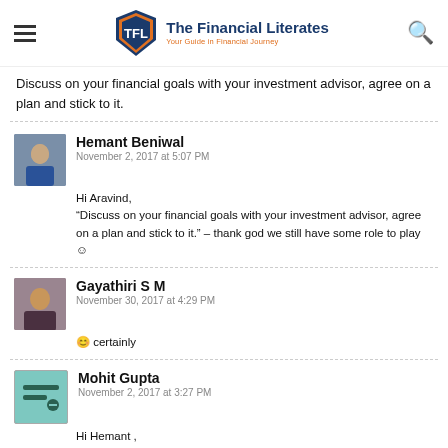The Financial Literates - Your Guide in Financial Journey
Discuss on your financial goals with your investment advisor, agree on a plan and stick to it.
Hemant Beniwal
November 2, 2017 at 5:07 PM
Hi Aravind,
“Discuss on your financial goals with your investment advisor, agree on a plan and stick to it.” – thank god we still have some role to play ☺
Gayathiri S M
November 30, 2017 at 4:29 PM
😊 certainly
Mohit Gupta
November 2, 2017 at 3:27 PM
Hi Hemant ,